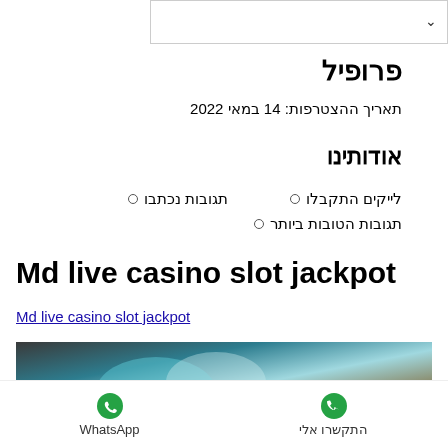[Figure (screenshot): Dropdown/input box UI element with a chevron arrow]
פרופיל
תאריך ההצטרפות: 14 במאי 2022
אודותינו
לייקים התקבלו
תגובות נכתבו
תגובות הטובות ביותר
Md live casino slot jackpot
Md live casino slot jackpot
[Figure (photo): Blurred casino/gaming image]
WhatsApp   התקשרו אלי